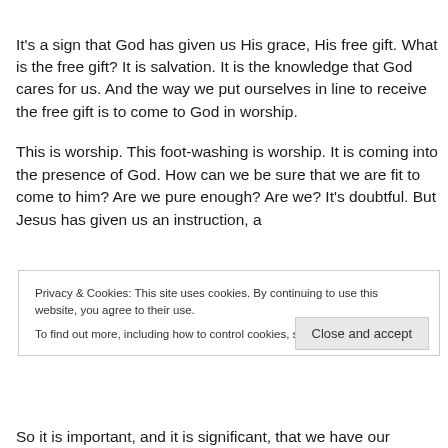It's a sign that God has given us His grace, His free gift. What is the free gift? It is salvation. It is the knowledge that God cares for us. And the way we put ourselves in line to receive the free gift is to come to God in worship.
This is worship. This foot-washing is worship. It is coming into the presence of God. How can we be sure that we are fit to come to him? Are we pure enough? Are we? It's doubtful. But Jesus has given us an instruction, a
Privacy & Cookies: This site uses cookies. By continuing to use this website, you agree to their use.
To find out more, including how to control cookies, see here: Cookie Policy
Close and accept
So it is important, and it is significant, that we have our